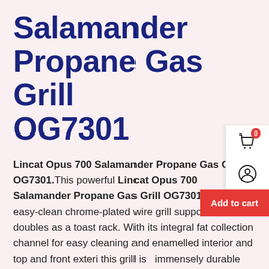Salamander Propane Gas Grill OG7301
Lincat Opus 700 Salamander Propane Gas Grill OG7301. This powerful Lincat Opus 700 Salamander Propane Gas Grill OG7301 features an easy-clean chrome-plated wire grill support that doubles as a toast rack. With its integral fat collection channel for easy cleaning and enamelled interior and top and front exteri this grill is  immensely durable and is also aesth pleasing.Please note, products that are gas powered and have been installed into a mobile catering outlet such as